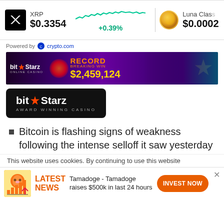[Figure (screenshot): XRP ticker showing price $0.3354, sparkline chart with +0.39% change, and Luna Classic partial ticker showing $0.0002]
Powered by  crypto.com
[Figure (photo): BitStarz casino advertisement banner showing 'RECORD BREAKING WIN $2,459,124']
[Figure (logo): BitStarz Award Winning Casino logo on black background]
Bitcoin is flashing signs of weakness following the intense selloff it saw yesterday
This website uses cookies. By continuing to use this website
[Figure (infographic): Tamadoge news ad: LATEST NEWS - Tamadoge - Tamadoge raises $500k in last 24 hours - INVEST NOW button]